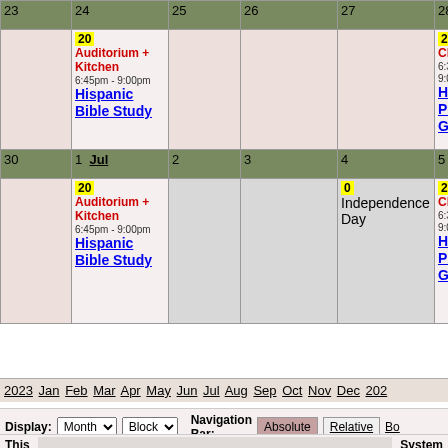| 23 | 24 | 25 | 26 | 27 | 28 |
| --- | --- | --- | --- | --- | --- |
|  | 20 Auditorium + Kitchen 6:45pm-9:00pm Hispanic Bible Study |  |  |  | 20 Church 6:30pm-9:00pm Hispanic Prayer Group |
| 30 | 1 Jul / 20 Auditorium + Kitchen 6:45pm-9:00pm Hispanic Bible Study | 2 | 3 | 4 / 0 Independence Day | 5 / 20 Church 6:30pm-9:00pm Hispanic Prayer Group |
2023 Jan Feb Mar Apr May Jun Jul Aug Sep Oct Nov Dec 202
Display: Month Block  Navigation Bar: Absolute Relative Bo
This  System